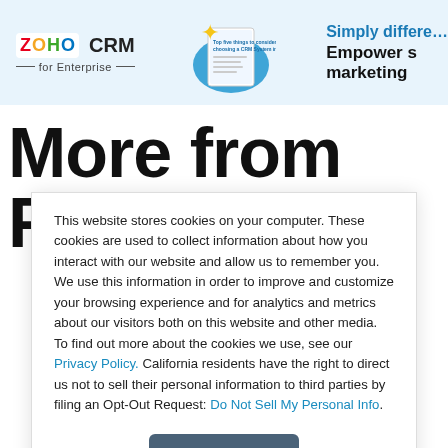[Figure (screenshot): Zoho CRM for Enterprise advertisement banner with logo, book graphic, and partial text 'Simply differ... Empower s... marketing']
More from FCT
This website stores cookies on your computer. These cookies are used to collect information about how you interact with our website and allow us to remember you. We use this information in order to improve and customize your browsing experience and for analytics and metrics about our visitors both on this website and other media. To find out more about the cookies we use, see our Privacy Policy. California residents have the right to direct us not to sell their personal information to third parties by filing an Opt-Out Request: Do Not Sell My Personal Info.